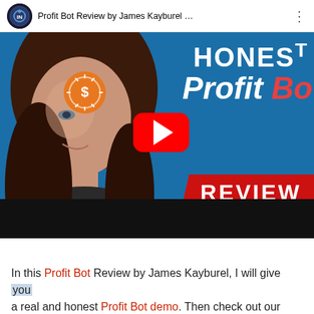[Figure (screenshot): YouTube video thumbnail for 'Profit Bot Review by James Kayburel' showing a woman against a blue background with text 'HONEST Profit Bot REVIEW' and a YouTube play button. The video player interface shows the channel icon, title bar, and a dark bottom strip.]
In this Profit Bot Review by James Kayburel, I will give you a real and honest Profit Bot demo. Then check out our